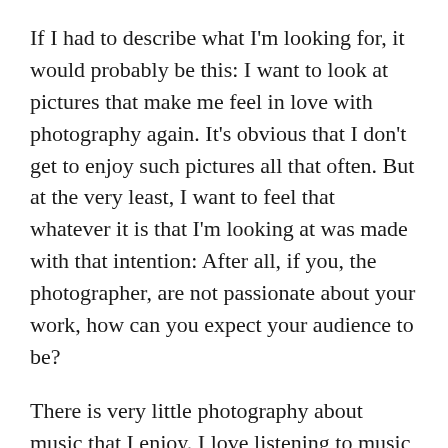If I had to describe what I'm looking for, it would probably be this: I want to look at pictures that make me feel in love with photography again. It's obvious that I don't get to enjoy such pictures all that often. But at the very least, I want to feel that whatever it is that I'm looking at was made with that intention: After all, if you, the photographer, are not passionate about your work, how can you expect your audience to be?
There is very little photography about music that I enjoy. I love listening to music — all types, ranging from fairly abstract electronic music to black metal to Polish folk punk to whatever else. But most photography made around music just doesn't excite me at all. Maybe music about photography is also like dancing about architecture?
Concert photography is, well, mostly awkward, and